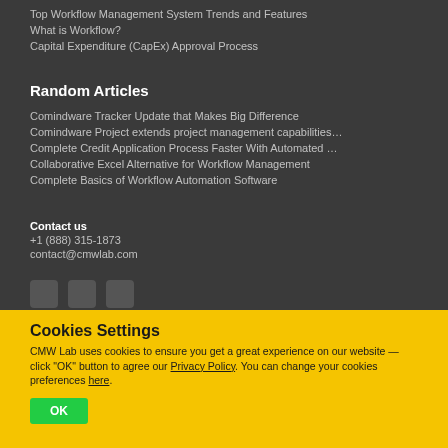Top Workflow Management System Trends and Features
What is Workflow?
Capital Expenditure (CapEx) Approval Process
Random Articles
Comindware Tracker Update that Makes Big Difference
Comindware Project extends project management capabilities…
Complete Credit Application Process Faster With Automated …
Collaborative Excel Alternative for Workflow Management
Complete Basics of Workflow Automation Software
Contact us
+1 (888) 315-1873
contact@cmwlab.com
[Figure (other): Three social media icon buttons]
Cookies Settings
CMW Lab uses cookies to ensure you get a great experience on our website — click "OK" button to agree our Privacy Policy. You can change your cookies preferences here.